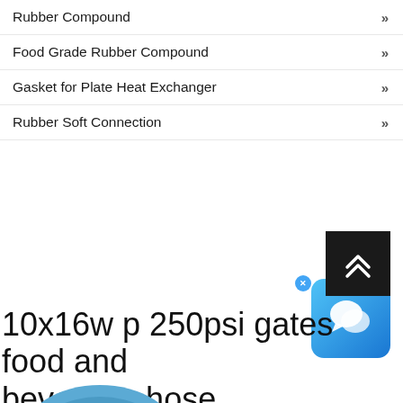Rubber Compound »
Food Grade Rubber Compound »
Gasket for Plate Heat Exchanger »
Rubber Soft Connection »
[Figure (screenshot): Blue chat bubble icon widget with X close button on blue gradient rounded square background]
[Figure (illustration): Black square scroll-to-top button with white double chevron arrows]
10x16w p 250psi gates food and beverage hose
[Figure (photo): Blue coiled food and beverage hose, partially visible at bottom of page]